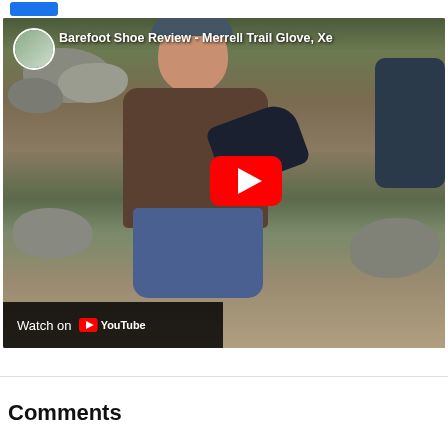[Figure (screenshot): YouTube video thumbnail/embed showing a man outdoors crouching on rocks near a stream, wearing a brown long-sleeve shirt, jeans, and a cap, holding what appears to be a barefoot shoe. Title overlay reads 'Barefoot Shoe Review - Merrell Trail Glove, Xe...' with a red YouTube play button and 'Watch on YouTube' bar at the bottom left.]
Barefoot Shoe Review - Merrell Trail Glove, Xe...
Comments